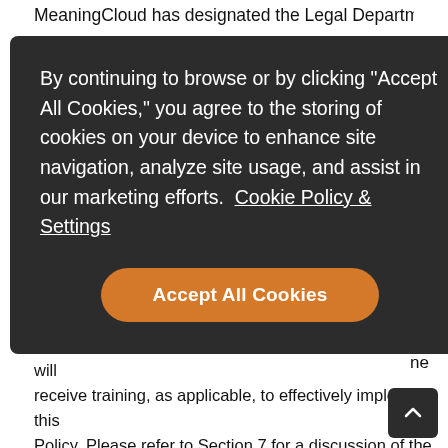MeaningCloud has designated the Legal Department to
[Figure (screenshot): Cookie consent overlay with dark background. Text reads: By continuing to browse or by clicking “Accept All Cookies,” you agree to the storing of cookies on your device to enhance site navigation, analyze site usage, and assist in our marketing efforts. Cookie Policy & Settings. Orange button: Accept All Cookies.]
will receive training, as applicable, to effectively implement this Policy. Please refer to Section 7 for a discussion of the steps that MeaningCloud has undertaken to protect Personal Data.
III. RENEWAL / VERIFICATION
MeaningCloud will renew its EU-U.S. Privacy Shield and Swiss-US Privacy Shield certifications annually, unless it subsequently determines that it no longer needs such